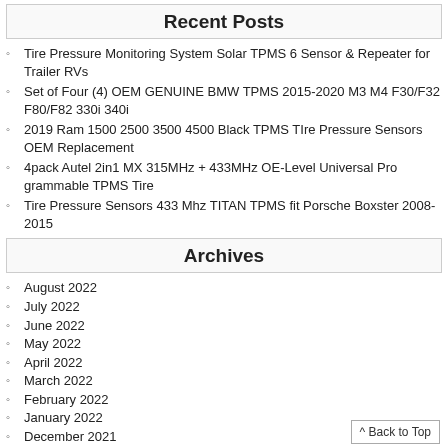Recent Posts
Tire Pressure Monitoring System Solar TPMS 6 Sensor & Repeater for Trailer RVs
Set of Four (4) OEM GENUINE BMW TPMS 2015-2020 M3 M4 F30/F32 F80/F82 330i 340i
2019 Ram 1500 2500 3500 4500 Black TPMS TIre Pressure Sensors OEM Replacement
4pack Autel 2in1 MX 315MHz + 433MHz OE-Level Universal Pro grammable TPMS Tire
Tire Pressure Sensors 433 Mhz TITAN TPMS fit Porsche Boxster 2008-2015
Archives
August 2022
July 2022
June 2022
May 2022
April 2022
March 2022
February 2022
January 2022
December 2021
November 2021
October 2021
^ Back to Top